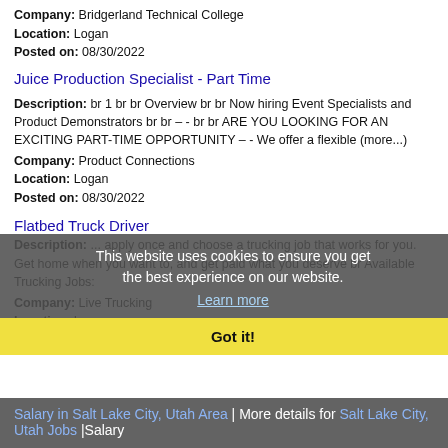Company: Bridgerland Technical College
Location: Logan
Posted on: 08/30/2022
Juice Production Specialist - Part Time
Description: br 1 br br Overview br br Now hiring Event Specialists and Product Demonstrators br br -- br br ARE YOU LOOKING FOR AN EXCITING PART-TIME OPPORTUNITY -- We offer a flexible (more...)
Company: Product Connections
Location: Logan
Posted on: 08/30/2022
Flatbed Truck Driver
Description: ... apply once and choose a trucking job that works for you. Get home when you want to, and get paid what you deserve br Available Trucking Jobs:
Company: Live Trucking
Location: Logan
Posted on: 08/30/2022
This website uses cookies to ensure you get the best experience on our website. Learn more
Got it!
Salary in Salt Lake City, Utah Area | More details for Salt Lake City, Utah Jobs |Salary